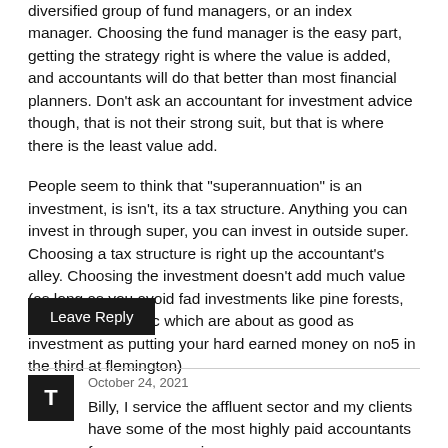diversified group of fund managers, or an index manager. Choosing the fund manager is the easy part, getting the strategy right is where the value is added, and accountants will do that better than most financial planners. Don't ask an accountant for investment advice though, that is not their strong suit, but that is where there is the least value add.
People seem to think that "superannuation" is an investment, is isn't, its a tax structure. Anything you can invest in through super, you can invest in outside super. Choosing a tax structure is right up the accountant's alley. Choosing the investment doesn't add much value (as long as you avoid fad investments like pine forests, and tea tree oil, etc which are about as good as investment as putting your hard earned money on no5 in the third at flemington)
Leave Reply
T
October 24, 2021
Billy, I service the affluent sector and my clients have some of the most highly paid accountants from every premium